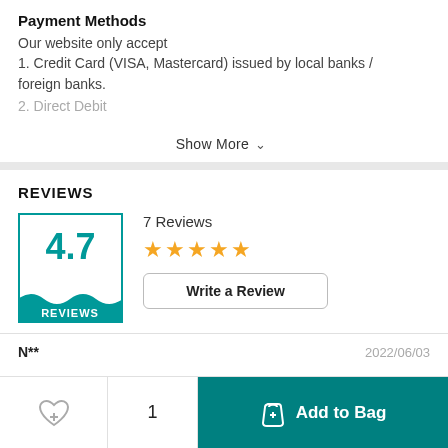Payment Methods
Our website only accept
1. Credit Card (VISA, Mastercard) issued by local banks / foreign banks.
2. Direct Debit
Show More
REVIEWS
4.7
REVIEWS
7 Reviews
★★★★★
Write a Review
N**
2022/06/03
1
Add to Bag